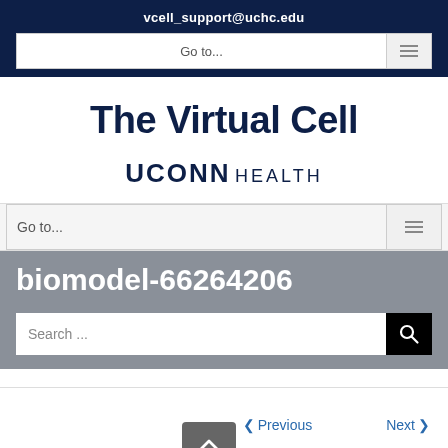vcell_support@uchc.edu
Go to...
The Virtual Cell
[Figure (logo): UCONN HEALTH logo text]
Go to...
biomodel-66264206
Search ...
< Previous  Next >